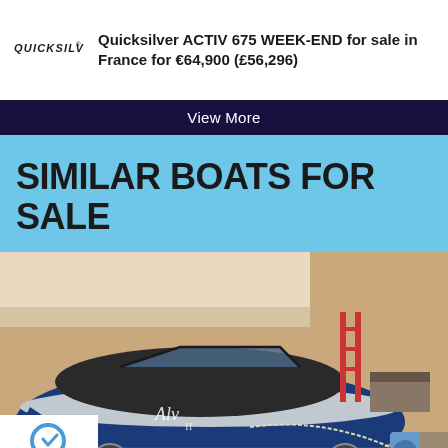[Figure (logo): Quicksilver brand logo in bold italic uppercase text]
Quicksilver ACTIV 675 WEEK-END for sale in France for €64,900 (£56,296)
View More
SIMILAR BOATS FOR SALE
[Figure (photo): Photo of a blue and silver motorboat on a trailer inside a garage]
Privacy · Terms